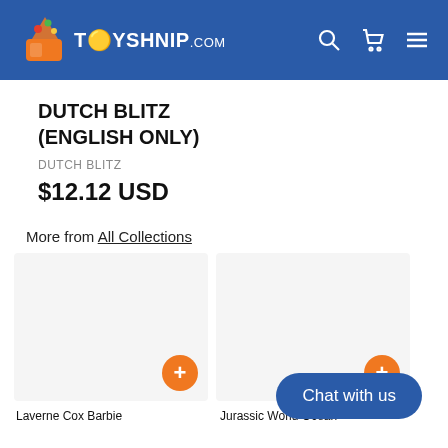TOYSHNIP.COM
DUTCH BLITZ (ENGLISH ONLY)
DUTCH BLITZ
$12.12 USD
More from All Collections
[Figure (screenshot): Two product collection placeholder cards with orange '+' add buttons]
[Figure (other): Chat with us button (dark blue rounded rectangle)]
Laverne Cox Barbie
Jurassic World Ocean
Jurassic